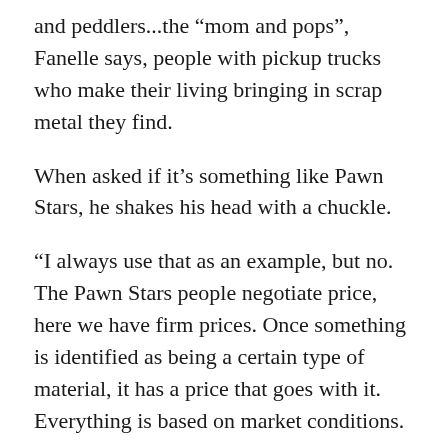and peddlers...the “mom and pops”, Fanelle says, people with pickup trucks who make their living bringing in scrap metal they find.
When asked if it’s something like Pawn Stars, he shakes his head with a chuckle.
“I always use that as an example, but no. The Pawn Stars people negotiate price, here we have firm prices. Once something is identified as being a certain type of material, it has a price that goes with it. Everything is based on market conditions.
“It’s funny because a lot of people come in and say, ‘Well, I can get ten cents more up the street’. Well, so be it, if that’s what you want.”